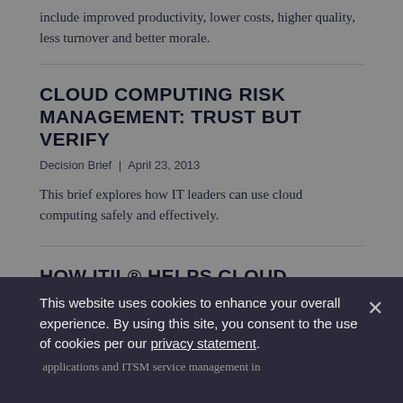include improved productivity, lower costs, higher quality, less turnover and better morale.
CLOUD COMPUTING RISK MANAGEMENT: TRUST BUT VERIFY
Decision Brief | April 23, 2013
This brief explores how IT leaders can use cloud computing safely and effectively.
HOW ITIL® HELPS CLOUD COMPUTING
This website uses cookies to enhance your overall experience. By using this site, you consent to the use of cookies per our privacy statement.